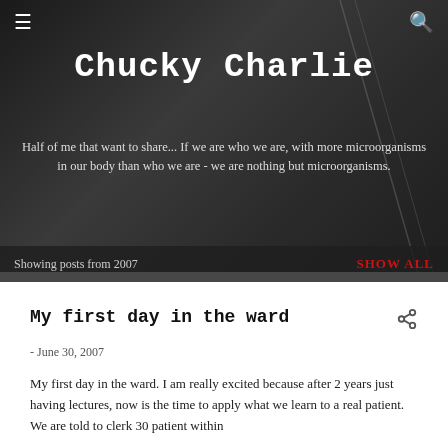☰  🔍
Chucky Charlie
Half of me that want to share... If we are who we are, with more microorganisms in our body than who we are - we are nothing but microorganisms.
Showing posts from 2007   SHOW ALL
My first day in the ward
- June 30, 2007
My first day in the ward. I am really excited because after 2 years just having lectures, now is the time to apply what we learn to a real patient. We are told to clerk 30 patient within